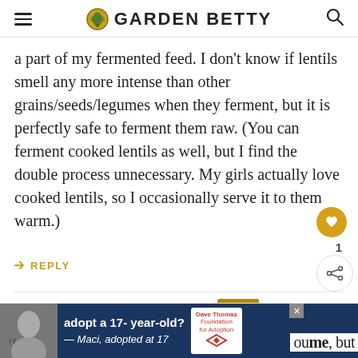GARDEN BETTY
a part of my fermented feed. I don't know if lentils smell any more intense than other grains/seeds/legumes when they ferment, but it is perfectly safe to ferment them raw. (You can ferment cooked lentils as well, but I find the double process unnecessary. My girls actually love cooked lentils, so I occasionally serve it to them warm.)
REPLY
WHAT'S NEXT → Why and How to Ferment...
KARINA
September 11, 2014 at 12:18 am
[Figure (screenshot): Advertisement banner: adopt a 17-year-old? — Maci, adopted at 17. Dave Thomas Foundation for Adoption logo. Black and white photo of a young woman.]